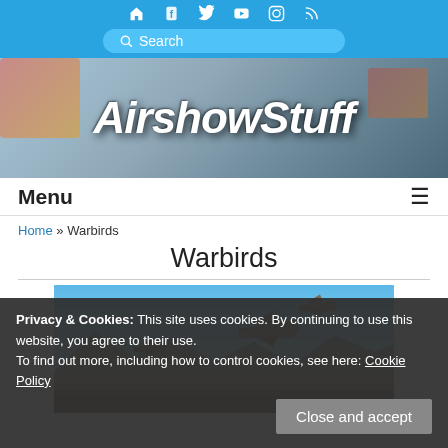Social icons and search bar
[Figure (screenshot): AirshowStuff website banner with fighter jets in background and bold italic logo text]
Menu ≡
Home » Warbirds
Warbirds
[Figure (photo): Two fighter jets flying in formation over desert landscape with mountains in background under blue sky]
Privacy & Cookies: This site uses cookies. By continuing to use this website, you agree to their use.
To find out more, including how to control cookies, see here: Cookie Policy
Close and accept